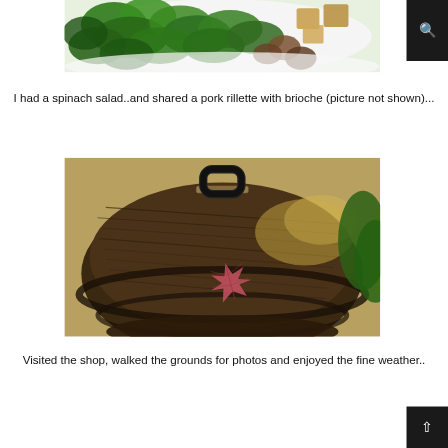[Figure (photo): Close-up photo of a spinach salad with green leaves and other food items including croutons and mushrooms on a white plate]
I had a spinach salad..and shared a pork rillette with brioche (picture not shown)...
[Figure (photo): Photo of a wooden barrel top/lid with a black metal handle, with a single autumn maple leaf resting on the weathered wood surface]
Visited the shop, walked the grounds for photos and enjoyed the fine weather..